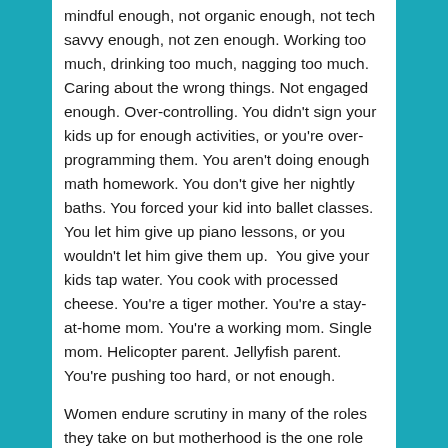mindful enough, not organic enough, not tech savvy enough, not zen enough. Working too much, drinking too much, nagging too much. Caring about the wrong things. Not engaged enough. Over-controlling. You didn't sign your kids up for enough activities, or you're over-programming them. You aren't doing enough math homework. You don't give her nightly baths. You forced your kid into ballet classes. You let him give up piano lessons, or you wouldn't let him give them up.  You give your kids tap water. You cook with processed cheese. You're a tiger mother. You're a stay-at-home mom. You're a working mom. Single mom. Helicopter parent. Jellyfish parent. You're pushing too hard, or not enough.
Women endure scrutiny in many of the roles they take on but motherhood is the one role everyone feels free to label, critique, and find fault with.
I sent Georgia to her first day of summer camp two years ago with a sandwich made with completely mouldy bread. It seems impossible, but I didn't notice. I packed a lovely green bread sandwich and sent her off for the day. The